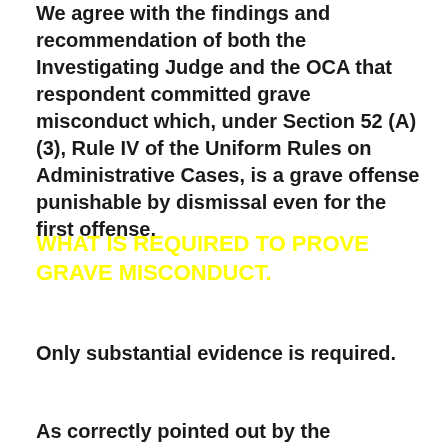We agree with the findings and recommendation of both the Investigating Judge and the OCA that respondent committed grave misconduct which, under Section 52 (A)(3), Rule IV of the Uniform Rules on Administrative Cases, is a grave offense punishable by dismissal even for the first offense.
WHAT IS REQUIRED TO PROVE GRAVE MISCONDUCT.
Only substantial evidence is required.
As correctly pointed out by the Investigating Judge, to